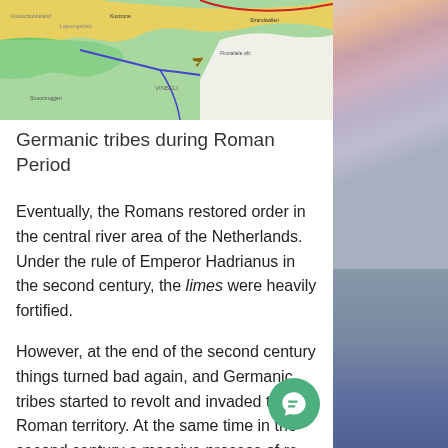[Figure (map): Map showing Germanic tribes during the Roman Period, with colored regions in yellow, green, and white, rivers, and a red border marking territory boundaries.]
Germanic tribes during Roman Period
Eventually, the Romans restored order in the central river area of the Netherlands. Under the rule of Emperor Hadrianus in the second century, the limes were heavily fortified.
However, at the end of the second century things turned bad again, and Germanic tribes started to revolt and invaded the Roman territory. At the same time in the second century a massive process of re-wetting of the